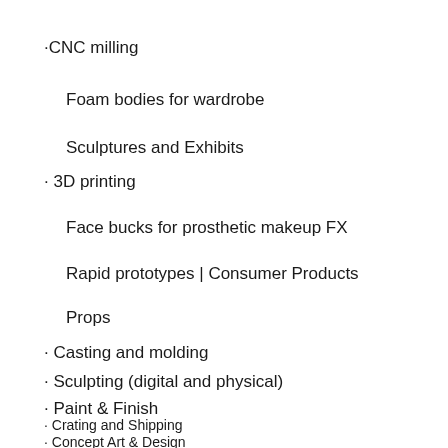·CNC milling
Foam bodies for wardrobe
Sculptures and Exhibits
· 3D printing
Face bucks for prosthetic makeup FX
Rapid prototypes | Consumer Products
Props
· Casting and molding
· Sculpting (digital and physical)
· Paint & Finish
· Crating and Shipping
· Concept Art & Design